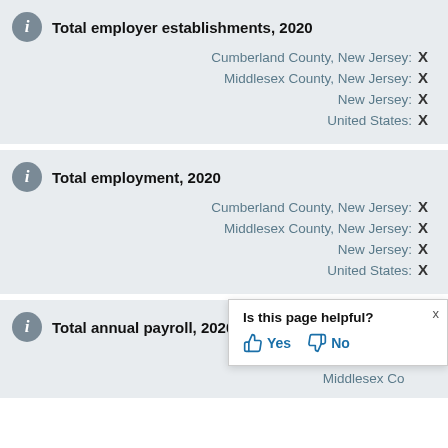Total employer establishments, 2020
Cumberland County, New Jersey: X
Middlesex County, New Jersey: X
New Jersey: X
United States: X
Total employment, 2020
Cumberland County, New Jersey: X
Middlesex County, New Jersey: X
New Jersey: X
United States: X
Total annual payroll, 2020 ($1,000)
Cumberland County, New Jersey: X
Middlesex County, New Jersey: X